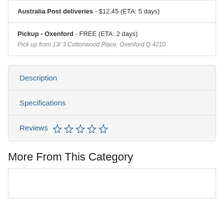Australia Post deliveries - $12.45 (ETA: 5 days)
Pickup - Oxenford - FREE (ETA: 2 days)
Pick up from 13/3 Cottonwood Place, Oxenford Q 4210
Description
Specifications
Reviews ☆☆☆☆☆
More From This Category